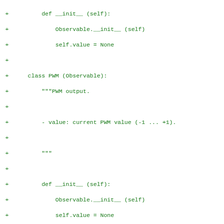[Figure (other): Diff output showing Python source code additions (lines prefixed with '+') in green monospace font. Code defines classes PWM (Observable) and Contact (Observable) with __init__, Pack, and __handle methods.]